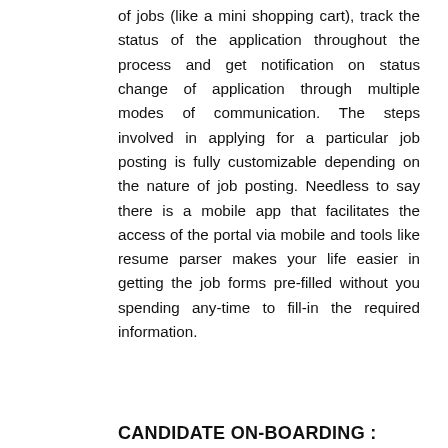of jobs (like a mini shopping cart), track the status of the application throughout the process and get notification on status change of application through multiple modes of communication. The steps involved in applying for a particular job posting is fully customizable depending on the nature of job posting. Needless to say there is a mobile app that facilitates the access of the portal via mobile and tools like resume parser makes your life easier in getting the job forms pre-filled without you spending any-time to fill-in the required information.
CANDIDATE ON-BOARDING :